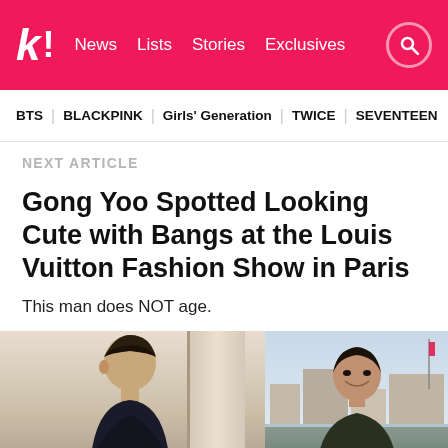k! News Lists Stories Exclusives
BTS  BLACKPINK  Girls' Generation  TWICE  SEVENTEEN
NEXT ARTICLE
Gong Yoo Spotted Looking Cute with Bangs at the Louis Vuitton Fashion Show in Paris
This man does NOT age.
[Figure (photo): Two side-by-side photos of Gong Yoo: left photo shows him indoors with bangs in profile/three-quarter view; right photo shows him outdoors smiling with city buildings in background.]